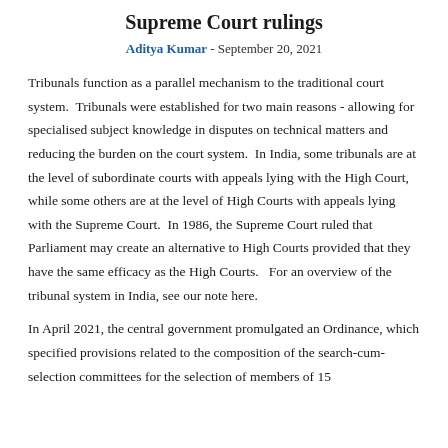Supreme Court rulings
Aditya Kumar - September 20, 2021
Tribunals function as a parallel mechanism to the traditional court system.  Tribunals were established for two main reasons - allowing for specialised subject knowledge in disputes on technical matters and reducing the burden on the court system.  In India, some tribunals are at the level of subordinate courts with appeals lying with the High Court, while some others are at the level of High Courts with appeals lying with the Supreme Court.  In 1986, the Supreme Court ruled that Parliament may create an alternative to High Courts provided that they have the same efficacy as the High Courts.   For an overview of the tribunal system in India, see our note here.
In April 2021, the central government promulgated an Ordinance, which specified provisions related to the composition of the search-cum-selection committees for the selection of members of 15